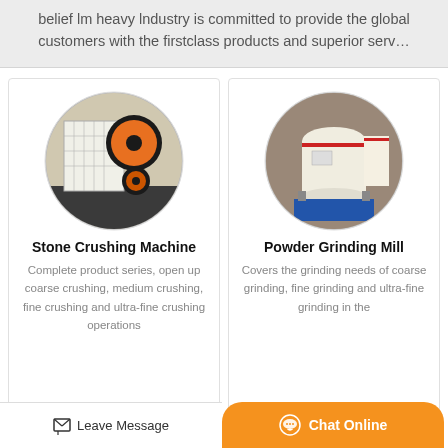belief lm heavy lndustry is committed to provide the global customers with the firstclass products and superior serv…
[Figure (photo): Stone Crushing Machine — circular photo of a jaw crusher with orange and black flywheels, white body, on black base]
Stone Crushing Machine
Complete product series, open up coarse crushing, medium crushing, fine crushing and ultra-fine crushing operations
[Figure (photo): Powder Grinding Mill — circular photo of a vertical cone mill machine, cream/beige color with red accents, blue base]
Powder Grinding Mill
Covers the grinding needs of coarse grinding, fine grinding and ultra-fine grinding in the
Leave Message
Chat Online